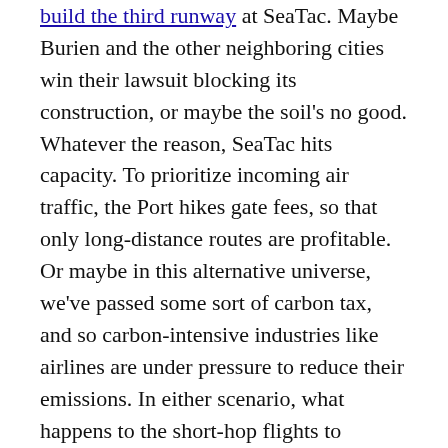build the third runway at SeaTac. Maybe Burien and the other neighboring cities win their lawsuit blocking its construction, or maybe the soil's no good. Whatever the reason, SeaTac hits capacity. To prioritize incoming air traffic, the Port hikes gate fees, so that only long-distance routes are profitable. Or maybe in this alternative universe, we've passed some sort of carbon tax, and so carbon-intensive industries like airlines are under pressure to reduce their emissions. In either scenario, what happens to the short-hop flights to Bellingham, Portland, Yakima, and the like? In the former, possibly they move to Boeing Field, if neighbors there allow it. But possibly Alaska Airlines, which operates most of those flights, sees a different opportunity, and works with the state to develop a rail link to those cities. Land at SeaTac,